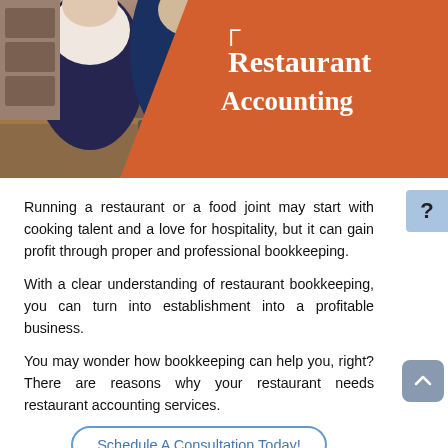[Figure (photo): Header image showing restaurant workers at a counter with a point-of-sale terminal, overlaid with an orange panel displaying 'Restaurant Accounting' text in white serif font]
Running a restaurant or a food joint may start with cooking talent and a love for hospitality, but it can gain profit through proper and professional bookkeeping.
With a clear understanding of restaurant bookkeeping, you can turn into establishment into a profitable business.
You may wonder how bookkeeping can help you, right? There are reasons why your restaurant needs restaurant accounting services.
Schedule A Consultation Today!
How Does A Restaurant Bookkeeper Help?
A restaurant or food truck bookkeeper oversees your finances as well as budgets for your restaurant. They can often advise or